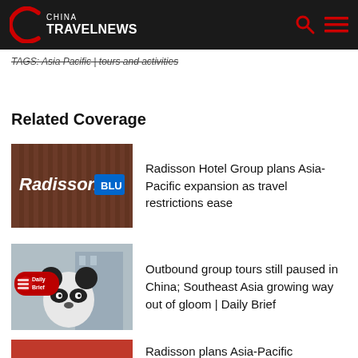China Travel News
TAGS: Asia Pacific | tours and activities
Related Coverage
[Figure (photo): Radisson Blu hotel sign on building exterior]
Radisson Hotel Group plans Asia-Pacific expansion as travel restrictions ease
[Figure (photo): Person in panda costume with Daily Brief logo overlay]
Outbound group tours still paused in China; Southeast Asia growing way out of gloom | Daily Brief
[Figure (photo): Radisson related image partially visible]
Radisson plans Asia-Pacific expansion;